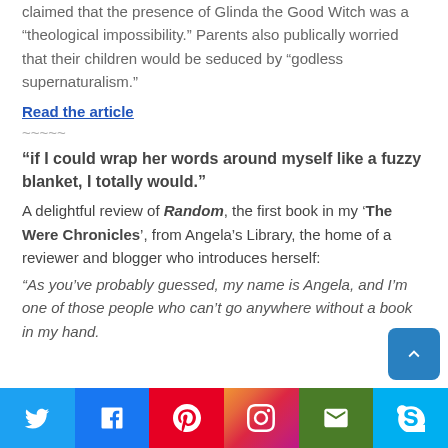claimed that the presence of Glinda the Good Witch was a “theological impossibility.” Parents also publically worried that their children would be seduced by “godless supernaturalism.”
Read the article
~~~~~
“if I could wrap her words around myself like a fuzzy blanket, I totally would.”
A delightful review of Random, the first book in my ‘The Were Chronicles’, from Angela’s Library, the home of a reviewer and blogger who introduces herself:
“As you’ve probably guessed, my name is Angela, and I’m one of those people who can’t go anywhere without a book in my hand.